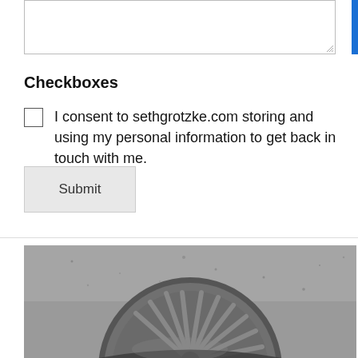Checkboxes
I consent to sethgrotzke.com storing and using my personal information to get back in touch with me.
Submit
[Figure (photo): Black and white close-up photograph of a circular metal drain cover or manhole cover with radial spoke-like pattern, set in concrete or asphalt.]